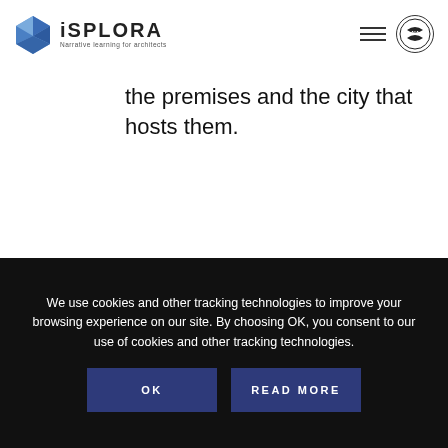iSPLORA — Narrative learning for architects
the premises and the city that hosts them.
GO TO FILM
We use cookies and other tracking technologies to improve your browsing experience on our site. By choosing OK, you consent to our use of cookies and other tracking technologies.
OK
READ MORE